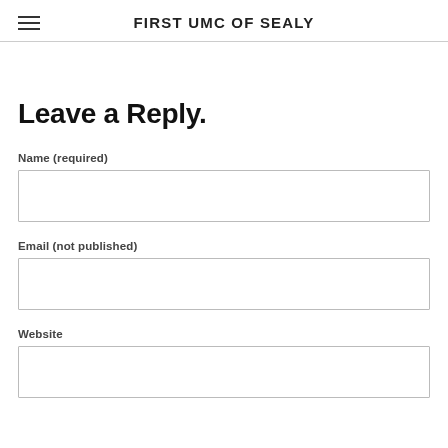FIRST UMC OF SEALY
Leave a Reply.
Name (required)
Email (not published)
Website